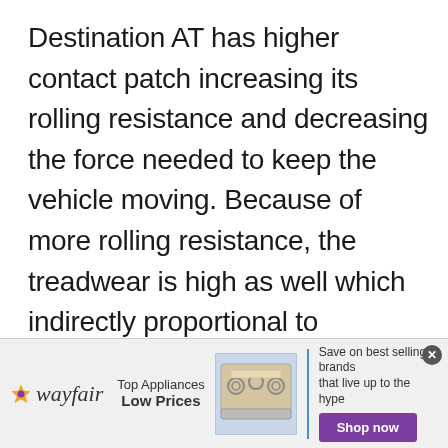Destination AT has higher contact patch increasing its rolling resistance and decreasing the force needed to keep the vehicle moving. Because of more rolling resistance, the treadwear is high as well which indirectly proportional to durability. AT consists two-ply polyester string casing which supports two high-tensile steel belts. A nylon
[Figure (other): Wayfair advertisement banner with logo, 'Top Appliances Low Prices' text, stove image, 'Save on best selling brands that live up to the hype' text, and purple 'Shop now' button]